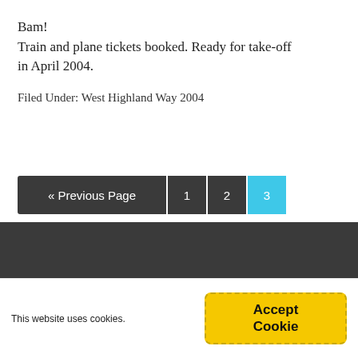Bam!
Train and plane tickets booked. Ready for take-off in April 2004.
Filed Under: West Highland Way 2004
« Previous Page  1  2  3
This website uses cookies.  Accept Cookie